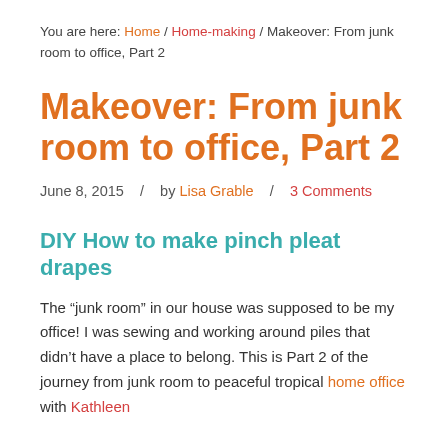You are here: Home / Home-making / Makeover: From junk room to office, Part 2
Makeover: From junk room to office, Part 2
June 8, 2015   /   by Lisa Grable   /   3 Comments
DIY How to make pinch pleat drapes
The “junk room” in our house was supposed to be my office! I was sewing and working around piles that didn’t have a place to belong. This is Part 2 of the journey from junk room to peaceful tropical home office with Kathleen Monroe & Co. [Segment 1 here]